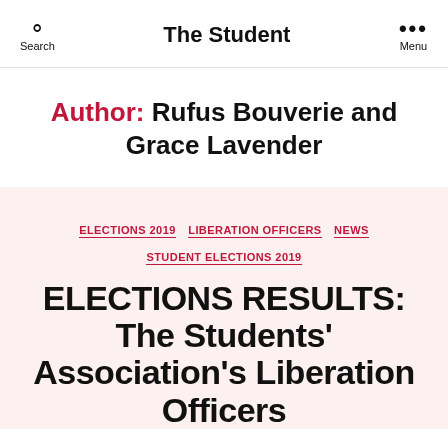The Student
Author: Rufus Bouverie and Grace Lavender
ELECTIONS 2019  LIBERATION OFFICERS  NEWS  STUDENT ELECTIONS 2019
ELECTIONS RESULTS: The Students' Association's Liberation Officers